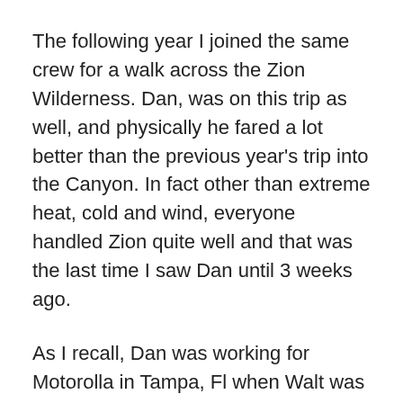The following year I joined the same crew for a walk across the Zion Wilderness. Dan, was on this trip as well, and physically he fared a lot better than the previous year's trip into the Canyon. In fact other than extreme heat, cold and wind, everyone handled Zion quite well and that was the last time I saw Dan until 3 weeks ago.
As I recall, Dan was working for Motorolla in Tampa, Fl when Walt was assigned to a project there, and Dan was his go-to Systems Engineer. This was back in the Cell Tower explosion of the late 90's after Walt had transferred back to Motorolla when Iridium failed to catch on at its initial price point. Walt was installing city wi-fi and cellular, and Tampa was the current project. Let's say the two of them hit it off nicely when Walt suggested they discuss some issues over a few beers instead of stale office air.